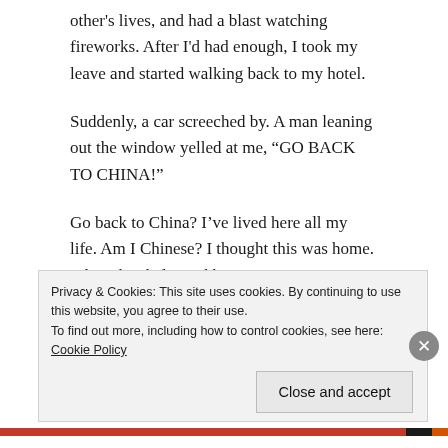other's lives, and had a blast watching fireworks. After I'd had enough, I took my leave and started walking back to my hotel.
Suddenly, a car screeched by. A man leaning out the window yelled at me, “GO BACK TO CHINA!”
Go back to China? I’ve lived here all my life. Am I Chinese? I thought this was home. I thought I belonged here. Am I American? Who am I?
Am I Chinese? Over the last four years, I have spent a
Privacy & Cookies: This site uses cookies. By continuing to use this website, you agree to their use.
To find out more, including how to control cookies, see here: Cookie Policy
Close and accept